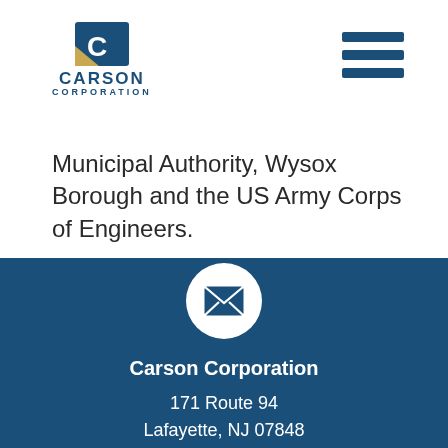[Figure (logo): Carson Corporation logo with stylized C icon in gold/navy and company name in navy blue]
[Figure (other): Hamburger menu icon with three horizontal navy blue bars]
Municipal Authority, Wysox Borough and the US Army Corps of Engineers.
[Figure (other): White circle with envelope/mail icon inside]
Carson Corporation
171 Route 94
Lafayette, NJ 07848